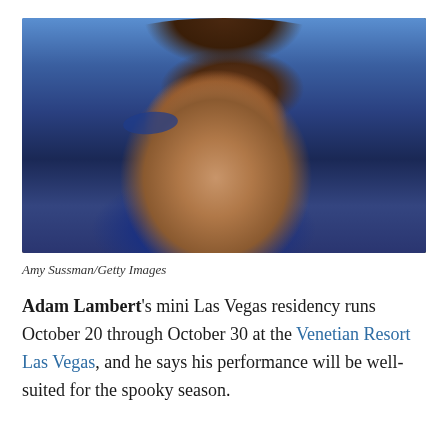[Figure (photo): Portrait photo of Adam Lambert wearing blue makeup/eyeshadow, blue blazer, and gold chain necklaces, with styled brown hair. Background shows green foliage and gold signage.]
Amy Sussman/Getty Images
Adam Lambert's mini Las Vegas residency runs October 20 through October 30 at the Venetian Resort Las Vegas, and he says his performance will be well-suited for the spooky season.